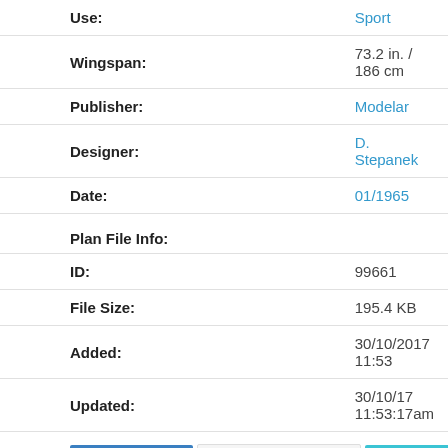| Use: | Sport |
| Wingspan: | 73.2 in. / 186 cm |
| Publisher: | Modelar |
| Designer: | D. Stepanek |
| Date: | 01/1965 |
| Plan File Info: |  |
| ID: | 99661 |
| File Size: | 195.4 KB |
| Added: | 30/10/2017 11:53 |
| Updated: | 30/10/17 11:53:17am |
Plan Page | Add to Favorites | Quote Prints
[Figure (photo): Black and white photograph showing an outdoor scene, possibly a model airplane or glider in a field with trees in the background.]